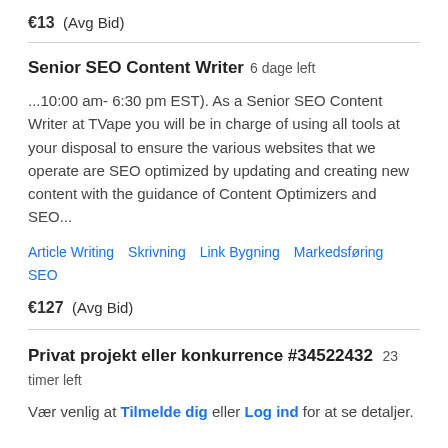€13  (Avg Bid)
Senior SEO Content Writer  6 dage left
...10:00 am- 6:30 pm EST). As a Senior SEO Content Writer at TVape you will be in charge of using all tools at your disposal to ensure the various websites that we operate are SEO optimized by updating and creating new content with the guidance of Content Optimizers and SEO...
Article Writing  Skrivning  Link Bygning  Markedsføring  SEO
€127  (Avg Bid)
Privat projekt eller konkurrence #34522432  23 timer left
Vær venlig at Tilmelde dig eller Log ind for at se detaljer.